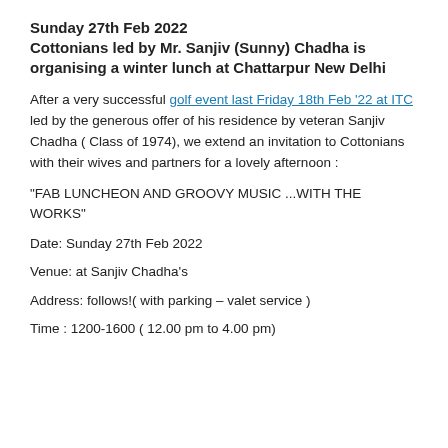Sunday 27th Feb 2022
Cottonians led by Mr. Sanjiv (Sunny) Chadha is organising a winter lunch at Chattarpur New Delhi
After a very successful golf event last Friday 18th Feb '22 at ITC led by the generous offer of his residence by veteran Sanjiv Chadha ( Class of 1974), we extend an invitation to Cottonians with their wives and partners for a lovely afternoon :
“FAB LUNCHEON AND GROOVY MUSIC ...WITH THE WORKS”
Date: Sunday 27th Feb 2022
Venue: at Sanjiv Chadha’s
Address: follows!( with parking – valet service )
Time : 1200-1600 ( 12.00 pm to 4.00 pm)